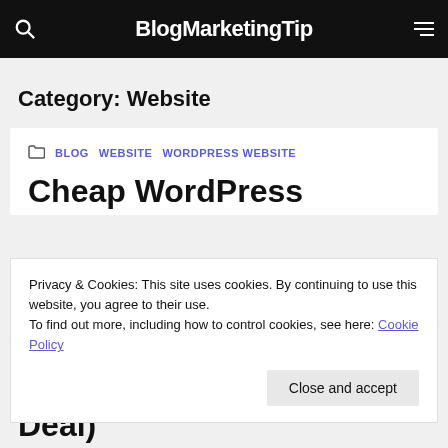BlogMarketingTip
Category: Website
BLOG  WEBSITE  WORDPRESS WEBSITE
Cheap WordPress
Privacy & Cookies: This site uses cookies. By continuing to use this website, you agree to their use.
To find out more, including how to control cookies, see here: Cookie Policy
Close and accept